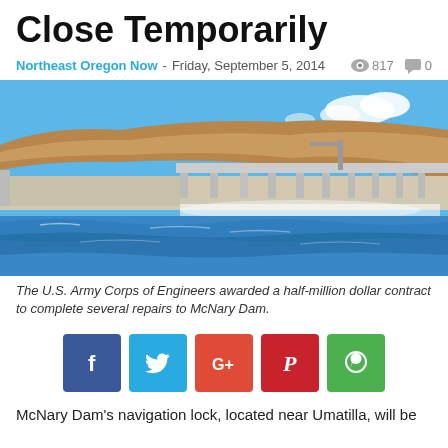Close Temporarily
Northeast Oregon Now - Friday, September 5, 2014  👁 817  💬 0
[Figure (photo): Photo of McNary Dam showing water rushing through spillways, with concrete dam structure, brown bluffs in background, and blue river water in foreground.]
The U.S. Army Corps of Engineers awarded a half-million dollar contract to complete several repairs to McNary Dam.
[Figure (infographic): Social sharing buttons: Facebook (blue), Twitter (light blue), Google+ (orange-red), Pinterest (red), WhatsApp (green)]
McNary Dam's navigation lock, located near Umatilla, will be